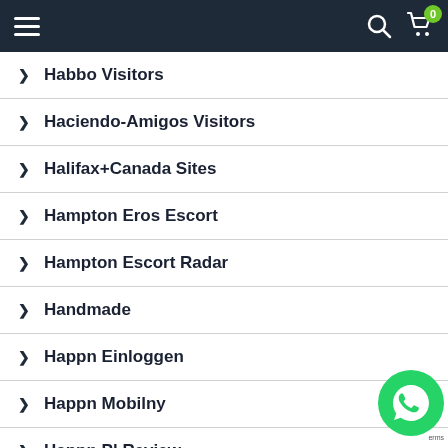Navigation bar with hamburger menu, search icon, and cart with badge 0
Habbo Visitors
Haciendo-Amigos Visitors
Halifax+Canada Sites
Hampton Eros Escort
Hampton Escort Radar
Handmade
Happn Einloggen
Happn Mobilny
Happn Pl Review
[Figure (logo): WhatsApp floating button (green circle with white phone icon) at bottom right]